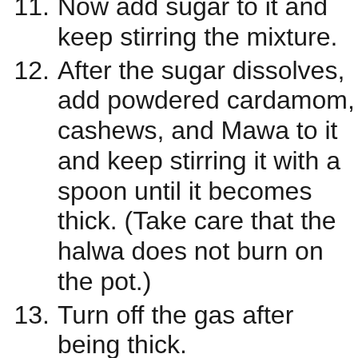10. [partial, cut off at top]
11. Now add sugar to it and keep stirring the mixture.
12. After the sugar dissolves, add powdered cardamom, cashews, and Mawa to it and keep stirring it with a spoon until it becomes thick. (Take care that the halwa does not burn on the pot.)
13. Turn off the gas after being thick.
14. Your Chiku / Sapota / Noseberry Halwa is ready.
15. Pour out the pudding in a